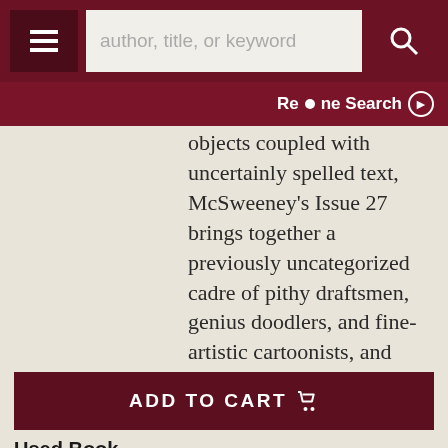author, title, or keyword | Re•ne Search
objects coupled with uncertainly spelled text, McSweeney's Issue 27 brings together a previously uncategorized cadre of pithy draftsmen, genius doodlers, and fine-artistic cartoonists, and buffets them with articles examining just..... More
ADD TO CART
Used Book
Price: $9.75
Item Details
Ask a Question